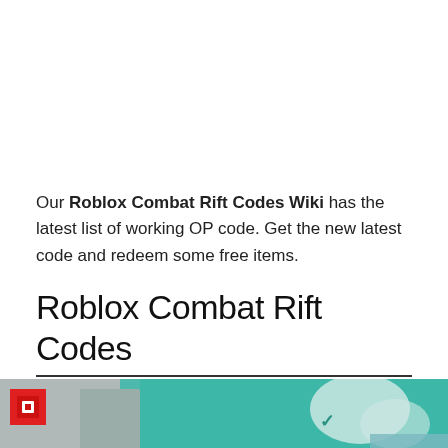Our Roblox Combat Rift Codes Wiki has the latest list of working OP code. Get the new latest code and redeem some free items.
Roblox Combat Rift Codes
[Figure (screenshot): Roblox game screenshot showing a character in a teal/green environment. A red Roblox logo icon appears top-left. A dark banner at the bottom with a pink/magenta top border shows the text 'ROBLOX' in large white bold letters. A small copyright mark reads '© CNewsYa'.]